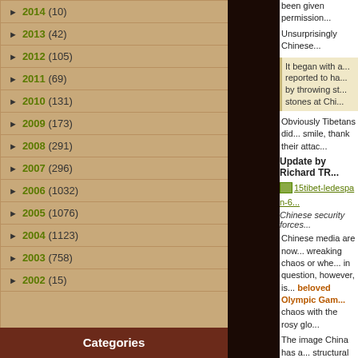► 2014 (10)
► 2013 (42)
► 2012 (105)
► 2011 (69)
► 2010 (131)
► 2009 (173)
► 2008 (291)
► 2007 (296)
► 2006 (1032)
► 2005 (1076)
► 2004 (1123)
► 2003 (758)
► 2002 (15)
Categories
been given permission...
Unsurprisingly Chinese...
It began with a... reported to ha... by throwing st... stones at Chi...
Obviously Tibetans did... smile, thank their attac...
Update by Richard TR...
[Figure (photo): 15tibet-ledespan-6... image thumbnail]
Chinese security forces...
Chinese media are now... wreaking chaos or whe... in question, however, is... beloved Olympic Gam... chaos with the rosy glo...
The image China has a... structural defects. Win...